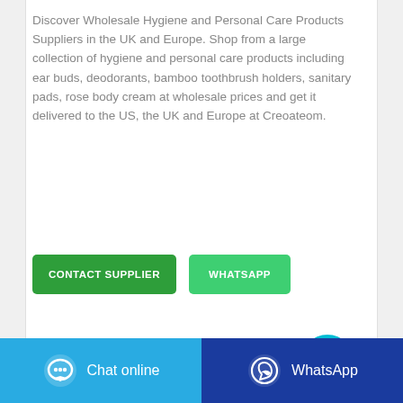Discover Wholesale Hygiene and Personal Care Products Suppliers in the UK and Europe. Shop from a large collection of hygiene and personal care products including ear buds, deodorants, bamboo toothbrush holders, sanitary pads, rose body cream at wholesale prices and get it delivered to the US, the UK and Europe at Creoateom.
[Figure (screenshot): Two buttons: CONTACT SUPPLIER (dark green) and WHATSAPP (light green)]
[Figure (screenshot): Number 1 label and a circular cyan chat button with ellipsis icon]
[Figure (photo): Partial product image — blue sanitary pad packaging at bottom of card]
[Figure (screenshot): Two footer bars: blue Chat online button on left, dark blue WhatsApp button on right]